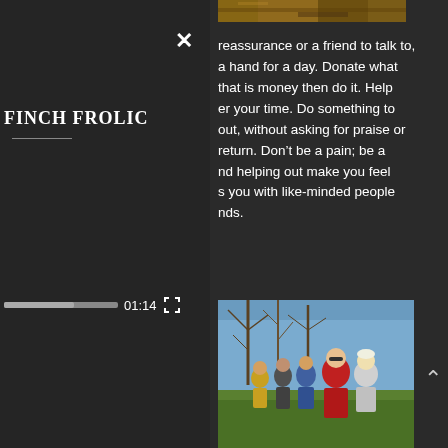[Figure (photo): Top strip showing textured brown/earthy surface, partial view]
×
FINCH FROLIC
reassurance or a friend to talk to, a hand for a day. Donate what that is money then do it. Help er your time. Do something to out, without asking for praise or return. Don't be a pain; be a nd helping out make you feel s you with like-minded people nds.
01:14
[Figure (photo): Group of people standing outdoors on a grassy hillside with bare trees in the background, one person wearing a red jacket prominently in the foreground]